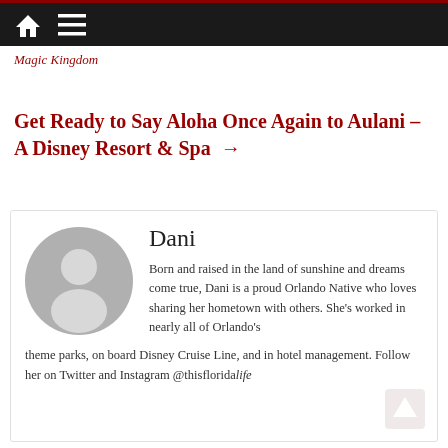Navigation bar with home and menu icons
Magic Kingdom
Get Ready to Say Aloha Once Again to Aulani – A Disney Resort & Spa →
[Figure (illustration): Author avatar placeholder: grey circle with silhouette]
Dani
Born and raised in the land of sunshine and dreams come true, Dani is a proud Orlando Native who loves sharing her hometown with others. She's worked in nearly all of Orlando's theme parks, on board Disney Cruise Line, and in hotel management. Follow her on Twitter and Instagram @thisfloridaLife